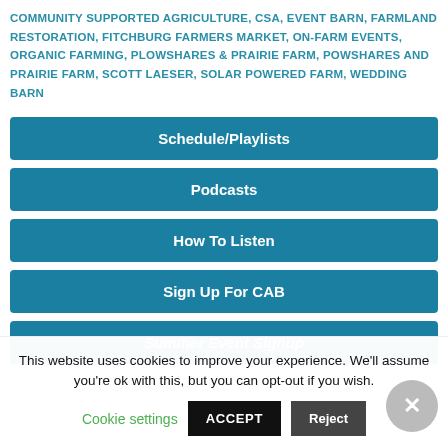COMMUNITY SUPPORTED AGRICULTURE, CSA, EVENT BARN, FARMLAND RESTORATION, FITCHBURG FARMERS MARKET, ON-FARM EVENTS, ORGANIC FARMING, PLOWSHARES & PRAIRIE FARM, POWSHARES AND PRAIRIE FARM, SCOTT LAESER, SOLAR POWERED FARM, WEDDING BARN
Schedule/Playlists
Podcasts
How To Listen
Sign Up For CAB
Summer Event Signup
This website uses cookies to improve your experience. We'll assume you're ok with this, but you can opt-out if you wish.
Cookie settings | ACCEPT | Reject